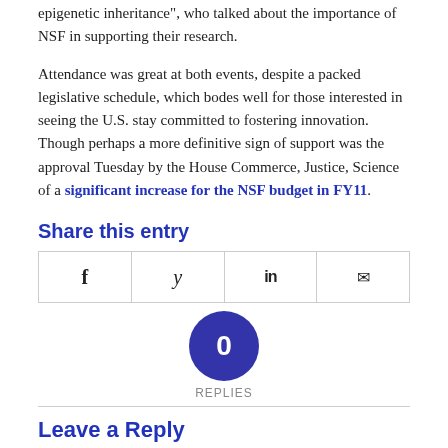epigenetic inheritance", who talked about the importance of NSF in supporting their research.
Attendance was great at both events, despite a packed legislative schedule, which bodes well for those interested in seeing the U.S. stay committed to fostering innovation. Though perhaps a more definitive sign of support was the approval Tuesday by the House Commerce, Justice, Science of a significant increase for the NSF budget in FY11.
Share this entry
[Figure (infographic): Social sharing bar with Facebook, Twitter, LinkedIn, and email icons in a bordered row]
0 REPLIES
Leave a Reply
Want to join the discussion?